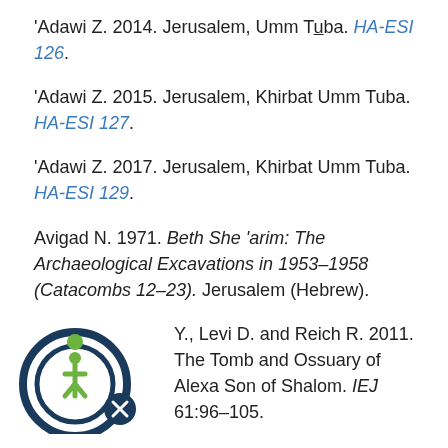'Adawi Z. 2014. Jerusalem, Umm Tuba. HA-ESI 126.
'Adawi Z. 2015. Jerusalem, Khirbat Umm Tuba. HA-ESI 127.
'Adawi Z. 2017. Jerusalem, Khirbat Umm Tuba. HA-ESI 129.
Avigad N. 1971. Beth She 'arim: The Archaeological Excavations in 1953–1958 (Catacombs 12–23). Jerusalem (Hebrew).
Y., Levi D. and Reich R. 2011. The Tomb and Ossuary of Alexa Son of Shalom. IEJ 61:96–105.